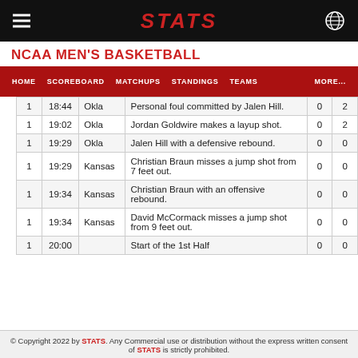STATS
NCAA MEN'S BASKETBALL
HOME  SCOREBOARD  MATCHUPS  STANDINGS  TEAMS  MORE...
|  |  |  |  | 0 | 2 |
| --- | --- | --- | --- | --- | --- |
| 1 | 18:44 | Okla | Personal foul committed by Jalen Hill. | 0 | 2 |
| 1 | 19:02 | Okla | Jordan Goldwire makes a layup shot. | 0 | 2 |
| 1 | 19:29 | Okla | Jalen Hill with a defensive rebound. | 0 | 0 |
| 1 | 19:29 | Kansas | Christian Braun misses a jump shot from 7 feet out. | 0 | 0 |
| 1 | 19:34 | Kansas | Christian Braun with an offensive rebound. | 0 | 0 |
| 1 | 19:34 | Kansas | David McCormack misses a jump shot from 9 feet out. | 0 | 0 |
| 1 | 20:00 |  | Start of the 1st Half | 0 | 0 |
© Copyright 2022 by STATS. Any Commercial use or distribution without the express written consent of STATS is strictly prohibited.